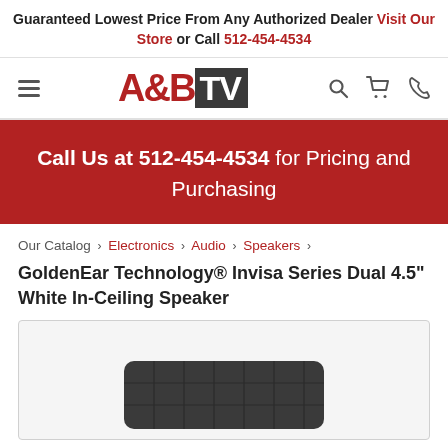Guaranteed Lowest Price From Any Authorized Dealer Visit Our Store or Call 512-454-4534
[Figure (logo): A&B TV logo with hamburger menu, search, cart, and phone icons]
Call Us at 512-454-4534 for Pricing and Purchasing
Our Catalog › Electronics › Audio › Speakers ›
GoldenEar Technology® Invisa Series Dual 4.5" White In-Ceiling Speaker
[Figure (photo): Product photo of GoldenEar Technology Invisa Series Dual 4.5 inch White In-Ceiling Speaker, showing a dark rectangular speaker grille]